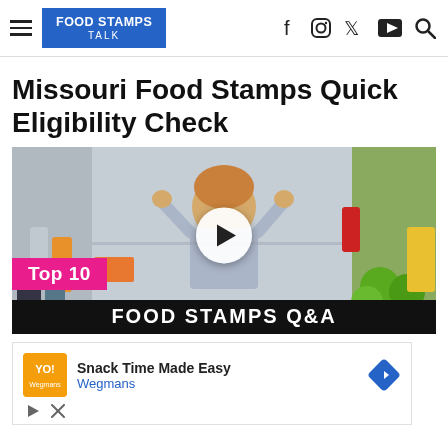Food Stamps Talk
Missouri Food Stamps Quick Eligibility Check
[Figure (screenshot): Video thumbnail showing a woman with hands on her head standing in front of an open refrigerator. Pink badge reads 'Top 10', black bar at bottom reads 'FOOD STAMPS Q&A', with a play button in the center.]
[Figure (infographic): Advertisement: 'Snack Time Made Easy' by Wegmans with logo and navigation arrow icon. Includes mute and close ad controls.]